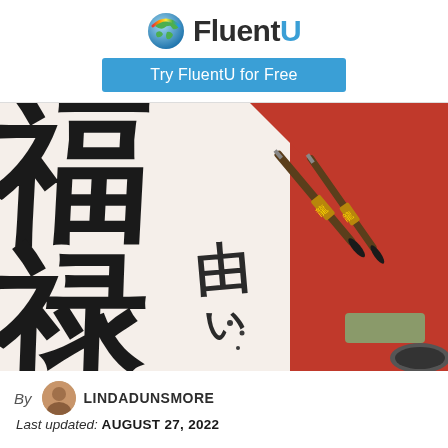[Figure (logo): FluentU logo with colorful globe icon and text 'FluentU' in dark gray with blue U]
[Figure (other): Blue button reading 'Try FluentU for Free']
[Figure (photo): Chinese calligraphy characters written in black ink on white paper, with decorative calligraphy brushes on red background to the right]
By LINDADUNSMORE
Last updated: AUGUST 27, 2022